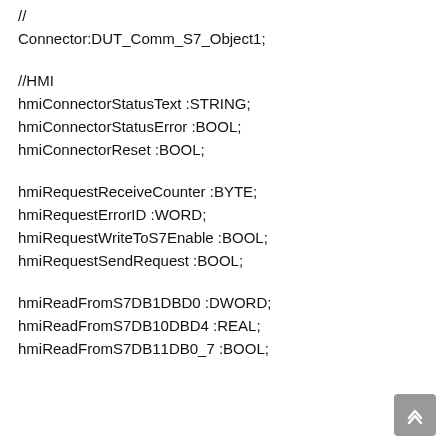//
Connector:DUT_Comm_S7_Object1;
//HMI
hmiConnectorStatusText :STRING;
hmiConnectorStatusError :BOOL;
hmiConnectorReset :BOOL;
hmiRequestReceiveCounter :BYTE;
hmiRequestErrorID :WORD;
hmiRequestWriteToS7Enable :BOOL;
hmiRequestSendRequest :BOOL;
hmiReadFromS7DB1DBD0 :DWORD;
hmiReadFromS7DB10DBD4 :REAL;
hmiReadFromS7DB11DB0_7 :BOOL;